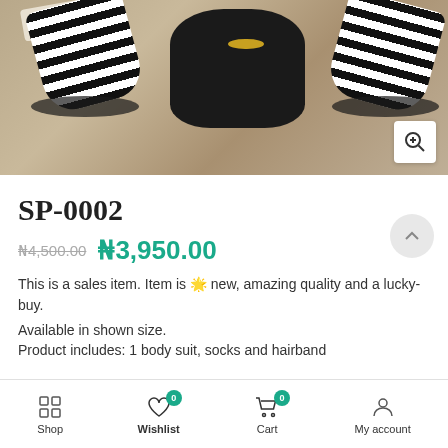[Figure (photo): Baby bodysuit set on wooden surface — black bodysuit with gold heart, black and white striped socks with ruffles, and product tags]
SP-0002
₦4,500.00  ₦3,950.00
This is a sales item. Item is 🌟 new, amazing quality and a lucky-buy.
Available in shown size.
Product includes: 1 body suit, socks and hairband
Shop  Wishlist  Cart  My account